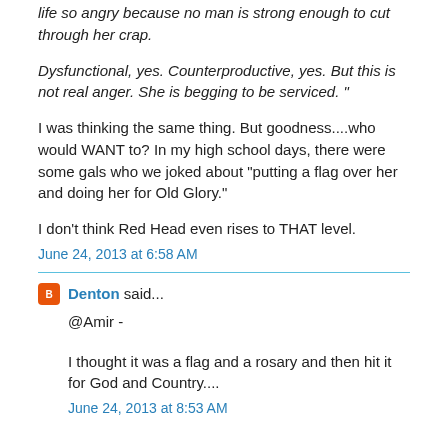life so angry because no man is strong enough to cut through her crap.
Dysfunctional, yes. Counterproductive, yes. But this is not real anger. She is begging to be serviced. "
I was thinking the same thing. But goodness....who would WANT to? In my high school days, there were some gals who we joked about "putting a flag over her and doing her for Old Glory."
I don't think Red Head even rises to THAT level.
June 24, 2013 at 6:58 AM
Denton said...
@Amir -
I thought it was a flag and a rosary and then hit it for God and Country....
June 24, 2013 at 8:53 AM